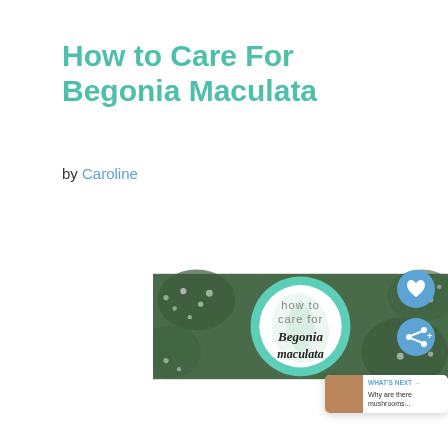How to Care For Begonia Maculata
by Caroline
[Figure (illustration): Circular graphic with teal/mint ring border on a background of Begonia Maculata leaves. Inside the circle on white background: text 'how to care for Begonia maculata' with Begonia leaf watermark. Background shows spotted Begonia leaves.]
WHAT'S NEXT → Why are there mushrooms...